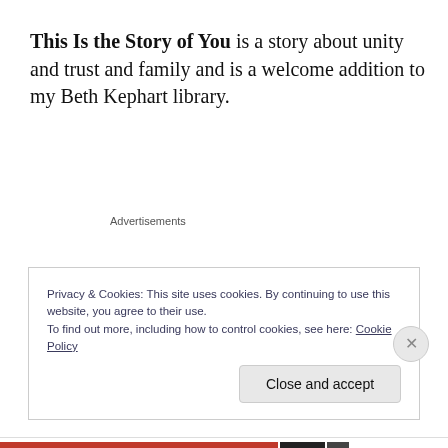This Is the Story of You is a story about unity and trust and family and is a welcome addition to my Beth Kephart library.
Advertisements
Privacy & Cookies: This site uses cookies. By continuing to use this website, you agree to their use.
To find out more, including how to control cookies, see here: Cookie Policy